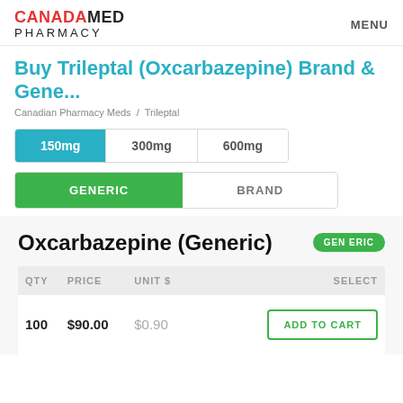CANADAMED PHARMACY  MENU
Buy Trileptal (Oxcarbazepine) Brand & Gene...
Canadian Pharmacy Meds / Trileptal
150mg  300mg  600mg
GENERIC  BRAND
Oxcarbazepine (Generic)  GENERIC
| QTY | PRICE | UNIT $ | SELECT |
| --- | --- | --- | --- |
| 100 | $90.00 | $0.90 | ADD TO CART |